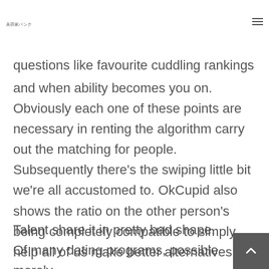美容家バンク
questions like favourite cuddling rankings and when ability becomes you on. Obviously each one of these points are necessary in renting the algorithm carry out the matching for people. Subsequently there's the swiping little bit we're all accustomed to. OkCupid also shows the ratio on the other person's being completely compatible to simply help all of us make better alternatives. we assume.
Talent share it in pretty bad shape. Of many dating programs, possible merely